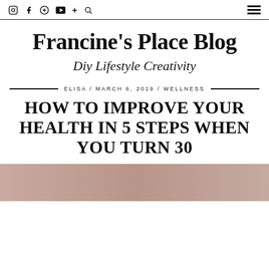Instagram / Facebook / Pinterest / YouTube / + / Search | Menu
Francine's Place Blog
Diy Lifestyle Creativity
ELISA / MARCH 6, 2019 / WELLNESS
HOW TO IMPROVE YOUR HEALTH IN 5 STEPS WHEN YOU TURN 30
[Figure (photo): Rose/mauve colored banner image at the bottom of the page header area]